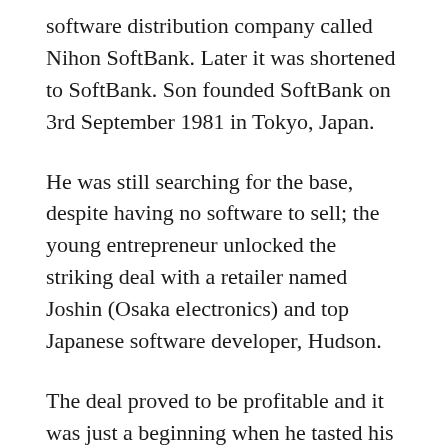software distribution company called Nihon SoftBank. Later it was shortened to SoftBank. Son founded SoftBank on 3rd September 1981 in Tokyo, Japan.
He was still searching for the base, despite having no software to sell; the young entrepreneur unlocked the striking deal with a retailer named Joshin (Osaka electronics) and top Japanese software developer, Hudson.
The deal proved to be profitable and it was just a beginning when he tasted his first success in the name of SoftBank. Within years the company expanded and was named one of the top companies in Japan's nascent computer industry- by grabbing 50 percent of the nation's retail market for computer software by 1984.